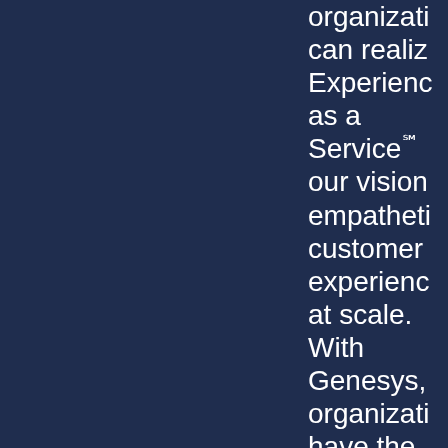organizations can realize Experience as a Service℠ our vision empathetic customer experiences at scale. With Genesys, organizations have the power to deliver proactive, predictive, and hyper personalized experiences to deepen their